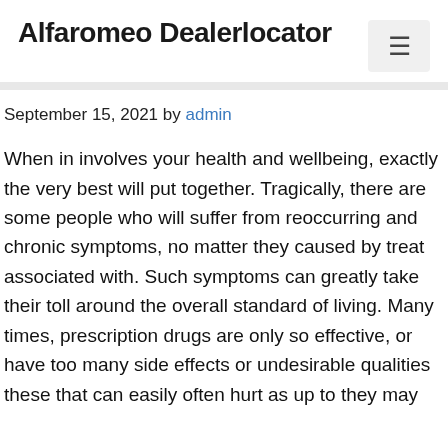Alfaromeo Dealerlocator
September 15, 2021 by admin
When in involves your health and wellbeing, exactly the very best will put together. Tragically, there are some people who will suffer from reoccurring and chronic symptoms, no matter they caused by treat associated with. Such symptoms can greatly take their toll around the overall standard of living. Many times, prescription drugs are only so effective, or have too many side effects or undesirable qualities these that can easily often hurt as up to they may